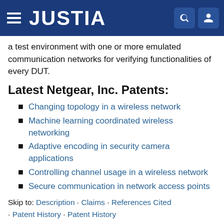JUSTIA
a test environment with one or more emulated communication networks for verifying functionalities of every DUT.
Latest Netgear, Inc. Patents:
Changing topology in a wireless network
Machine learning coordinated wireless networking
Adaptive encoding in security camera applications
Controlling channel usage in a wireless network
Secure communication in network access points
Skip to: Description · Claims · References Cited · Patent History · Patent History
Description